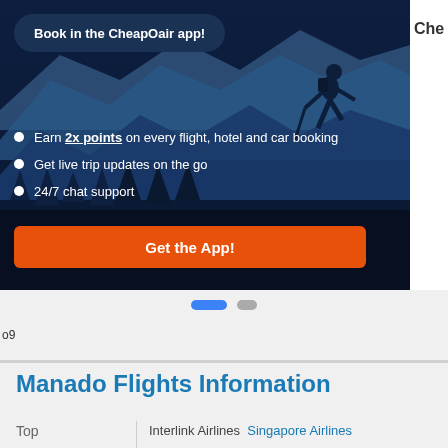[Figure (screenshot): CheapOair app promotion banner with dark blue mountain/hiking background, showing 'Book in the CheapOair app!' button, bullet points about earning 2x points, live trip updates, and 24/7 chat support, plus an orange 'Get the App!' button.]
o9
Manado Flights Information
Top
Interlink Airlines Singapore Airlines